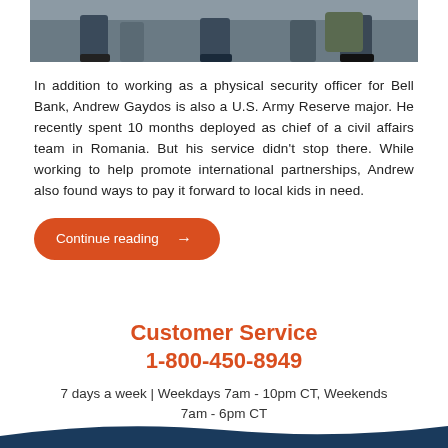[Figure (photo): Cropped photo showing military personnel from above, on a stone or pavement surface. Only legs and bags/equipment are visible.]
In addition to working as a physical security officer for Bell Bank, Andrew Gaydos is also a U.S. Army Reserve major. He recently spent 10 months deployed as chief of a civil affairs team in Romania. But his service didn't stop there. While working to help promote international partnerships, Andrew also found ways to pay it forward to local kids in need.
Continue reading →
Customer Service
1-800-450-8949
7 days a week | Weekdays 7am - 10pm CT, Weekends 7am - 6pm CT